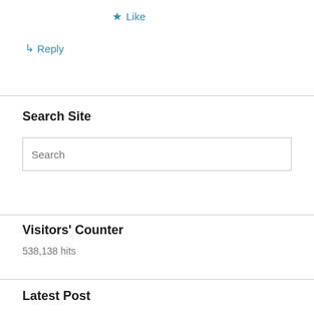★ Like
↳ Reply
Search Site
Search
Visitors' Counter
538,138 hits
Latest Post